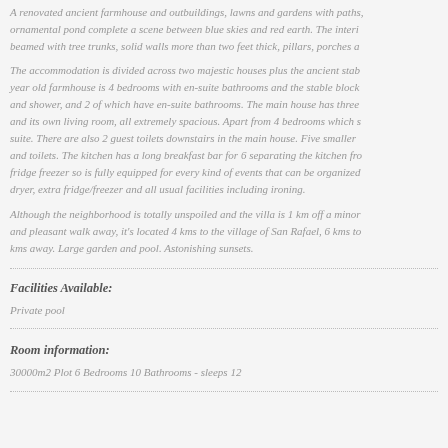A renovated ancient farmhouse and outbuildings, lawns and gardens with paths, ornamental pond complete a scene between blue skies and red earth. The interior beamed with tree trunks, solid walls more than two feet thick, pillars, porches a
The accommodation is divided across two majestic houses plus the ancient stab year old farmhouse is 4 bedrooms with en-suite bathrooms and the stable block and shower, and 2 of which have en-suite bathrooms. The main house has three and its own living room, all extremely spacious. Apart from 4 bedrooms which s suite. There are also 2 guest toilets downstairs in the main house. Five smaller and toilets. The kitchen has a long breakfast bar for 6 separating the kitchen fro fridge freezer so is fully equipped for every kind of events that can be organized dryer, extra fridge/freezer and all usual facilities including ironing.
Although the neighborhood is totally unspoiled and the villa is 1 km off a minor and pleasant walk away, it's located 4 kms to the village of San Rafael, 6 kms to kms away. Large garden and pool. Astonishing sunsets.
Facilities Available:
Private pool
Room information:
30000m2 Plot 6 Bedrooms 10 Bathrooms - sleeps 12